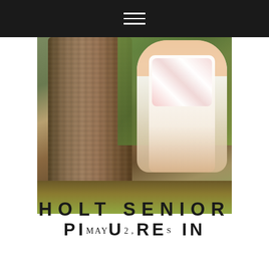Navigation menu header bar
[Figure (photo): A young woman in a white floral dress peeking around a large tree trunk in an outdoor park setting, with greenery and water in the background. A watermark reads 'rh REBECCA HORNBAKE' in the lower left.]
HOLT SENIOR PICTURES IN
MAY 2, 2019